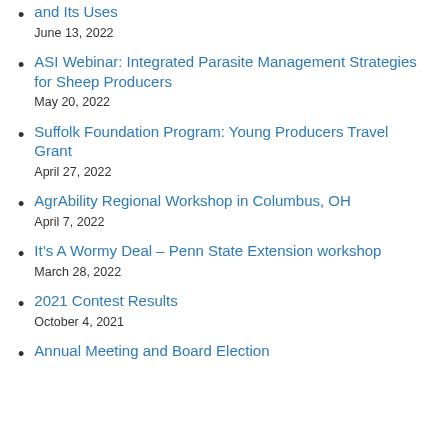and Its Uses
June 13, 2022
ASI Webinar: Integrated Parasite Management Strategies for Sheep Producers
May 20, 2022
Suffolk Foundation Program: Young Producers Travel Grant
April 27, 2022
AgrAbility Regional Workshop in Columbus, OH
April 7, 2022
It’s A Wormy Deal – Penn State Extension workshop
March 28, 2022
2021 Contest Results
October 4, 2021
Annual Meeting and Board Election (partial)